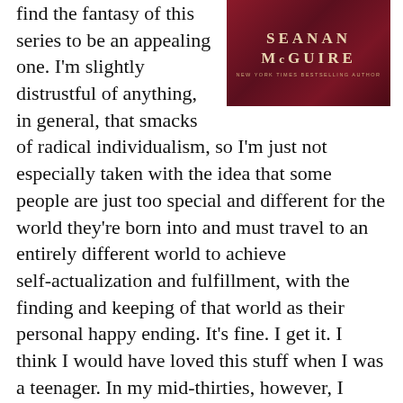[Figure (illustration): Book cover for a Seanan McGuire novel, dark red/crimson background with author name 'SEANAN McGUIRE' in large serif letters and subtitle 'NEW YORK TIMES BESTSELLING AUTHOR' in small caps below]
find the fantasy of this series to be an appealing one. I'm slightly distrustful of anything, in general, that smacks of radical individualism, so I'm just not especially taken with the idea that some people are just too special and different for the world they're born into and must travel to an entirely different world to achieve self-actualization and fulfillment, with the finding and keeping of that world as their personal happy ending. It's fine. I get it. I think I would have loved this stuff when I was a teenager. In my mid-thirties, however, I struggle with some of the broader implications of it, which impacts my overall enjoyment of the story. I don't begrudge anyone else the escapist fantasy of a better world of their very own, but my own fantasies at this point in my life are less escapist and more about making this world a